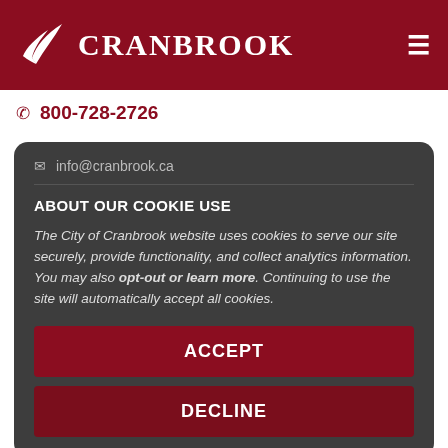CRANBROOK
800-728-2726
info@cranbrook.ca
ABOUT OUR COOKIE USE
The City of Cranbrook website uses cookies to serve our site securely, provide functionality, and collect analytics information. You may also opt-out or learn more. Continuing to use the site will automatically accept all cookies.
ACCEPT
DECLINE
Sign up for our newsletter and get updates about the City of Cranbrook.